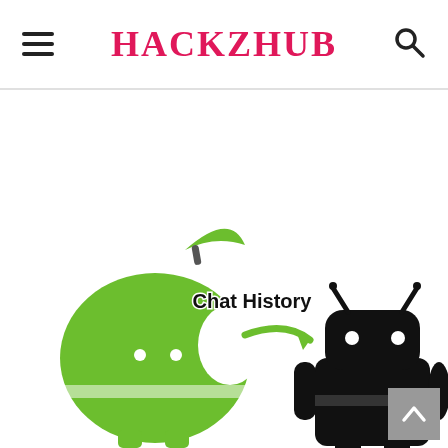HACKZHUB
[Figure (illustration): Illustration of a green Apple logo character (styled as Android) on the left sending 'Chat History' via a green arrow to a black Android robot on the right, representing transfer of chat history from iPhone/iOS to Android.]